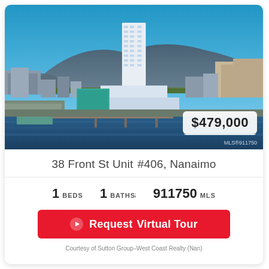[Figure (photo): Aerial photo of Nanaimo waterfront with a tall white condominium tower in the center, city buildings, harbor, and mountain in the background. Blue sky.]
38 Front St Unit #406, Nanaimo
1 BEDS  1 BATHS  911750 MLS
Request Virtual Tour
Courtesy of Sutton Group-West Coast Realty (Nan)